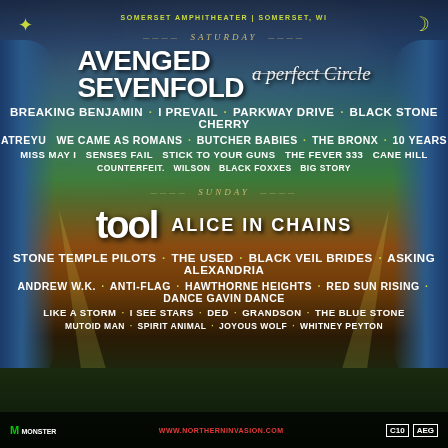SOMERSET AMPHITHEATER | SOMERSET, WI
SATURDAY
AVENGED SEVENFOLD   a perfect Circle
BREAKING BENJAMIN · I PREVAIL · PARKWAY DRIVE · BLACK STONE CHERRY
ATREYU  WE CAME AS ROMANS · BUTCHER BABIES · THE BRONX · 10 YEARS
MISS MAY I  SENSES FAIL  STICK TO YOUR GUNS  THE FEVER 333  CANE HILL
COUNTERFEIT.  WILSON  BLACK FOXXES  BIG STORY
SUNDAY
tool   ALICE IN CHAINS
STONE TEMPLE PILOTS · THE USED · BLACK VEIL BRIDES · ASKING ALEXANDRIA
ANDREW W.K. · ANTI-FLAG · HAWTHORNE HEIGHTS · RED SUN RISING · DANCE GAVIN DANCE
LIKE A STORM · I SEE STARS · DED · GRANDSON · THE BLUE STONE
MUTOID MAN · SPIRIT ANIMAL · JOYOUS WOLF · WHITNEY PEYTON
MONSTER   www.northerninvasion.com   C10   AEG